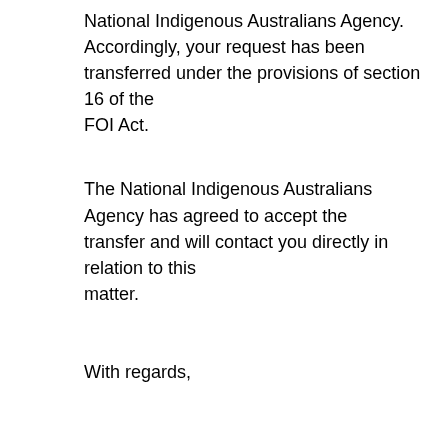National Indigenous Australians Agency. Accordingly, your request has been transferred under the provisions of section 16 of the FOI Act.
The National Indigenous Australians Agency has agreed to accept the transfer and will contact you directly in relation to this matter.
With regards,
----------------------------------------------------------------------------- ---